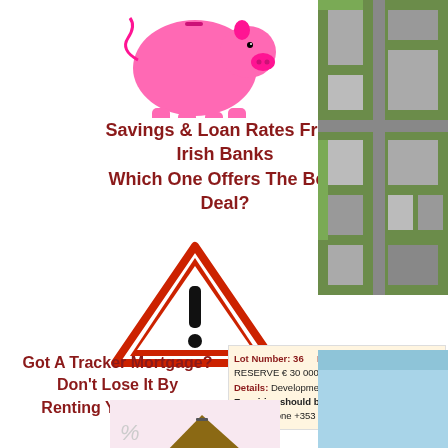[Figure (illustration): Pink piggy bank illustration]
Savings & Loan Rates From Irish Banks Which One Offers The Best Deal?
[Figure (illustration): Red warning triangle with exclamation mark]
Got A Tracker Mortgage? Don't Lose It By Renting Your House
[Figure (illustration): Aerial photograph of development site]
Lot Number: 36   Location: RESERVE € 30 000 Details: Development site. Enquiries should be addressed to BIDX1 Phone +353 01 667 3
[Figure (illustration): House model on mortgage documents]
[Figure (photo): Blue sky / water area bottom right]